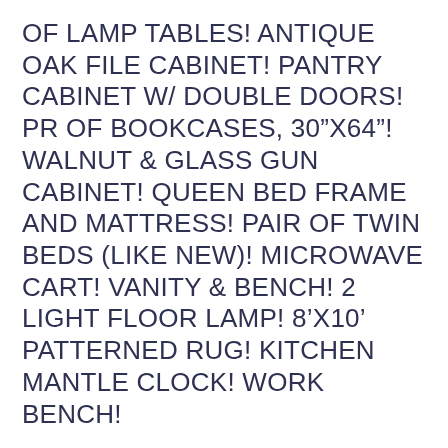OF LAMP TABLES! ANTIQUE OAK FILE CABINET! PANTRY CABINET W/ DOUBLE DOORS! PR OF BOOKCASES, 30”X64”! WALNUT & GLASS GUN CABINET! QUEEN BED FRAME AND MATTRESS! PAIR OF TWIN BEDS (LIKE NEW)! MICROWAVE CART! VANITY & BENCH! 2 LIGHT FLOOR LAMP! 8’X10’ PATTERNED RUG! KITCHEN MANTLE CLOCK! WORK BENCH!
ARTWORK, DÉCOR, GLASSWARE & HOUSEHOLD 2 LANDSCAPE OIL ON CANVAS! BLUE BOY IN LARGE FRAME! AGE OF INNOCENSE PRINT! STILL LIFE PRINT BY RICHARDS! 2 ROCKWLL DECOUPAGE PRINTS! CHRISTMAS DÉCOR! NUSSELLANORO INTERNATIONAL SANTAS! CHRISTMAS LIGHTS! ANTIQUE CLOCK...